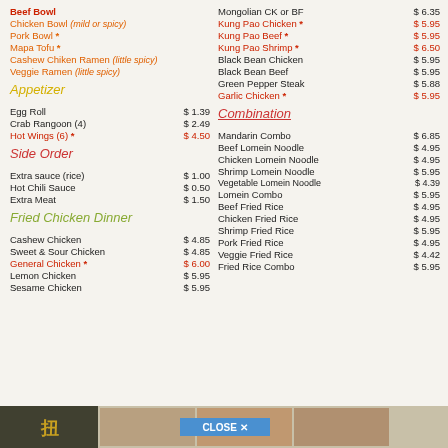Beef Bowl
Chicken Bowl (mild or spicy)
Pork Bowl *
Mapa Tofu *
Cashew Chiken Ramen (little spicy)
Veggie Ramen (little spicy)
Appetizer
Egg Roll    $ 1.39
Crab Rangoon (4)    $ 2.49
Hot Wings (6) *    $ 4.50
Side Order
Extra sauce (rice)    $ 1.00
Hot Chili Sauce    $ 0.50
Extra Meat    $ 1.50
Fried Chicken Dinner
Cashew Chicken    $ 4.85
Sweet & Sour Chicken    $ 4.85
General Chicken *    $ 6.00
Lemon Chicken    $ 5.95
Sesame Chicken    $ 5.95
Mongolian CK or BF    $ 6.35
Kung Pao Chicken *    $ 5.95
Kung Pao Beef *    $ 5.95
Kung Pao Shrimp *    $ 6.50
Black Bean Chicken    $ 5.95
Black Bean Beef    $ 5.95
Green Pepper Steak    $ 5.88
Garlic Chicken *    $ 5.95
Combination
Mandarin Combo    $ 6.85
Beef Lomein Noodle    $ 4.95
Chicken Lomein Noodle    $ 4.95
Shrimp Lomein Noodle    $ 5.95
Vegetable Lomein Noodle  $ 4.39
Lomein Combo    $ 5.95
Beef Fried Rice    $ 4.95
Chicken Fried Rice    $ 4.95
Shrimp Fried Rice    $ 5.95
Pork Fried Rice    $ 4.95
Veggie Fried Rice    $ 4.42
Fried Rice Combo    $ 5.95